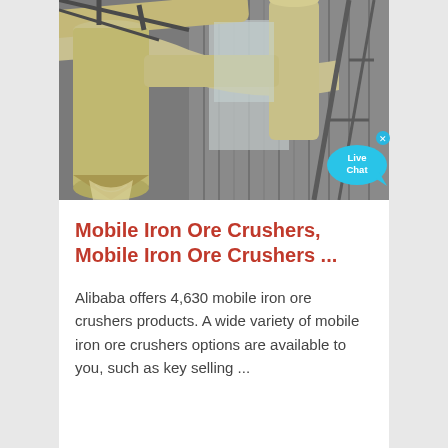[Figure (photo): Industrial machinery inside a warehouse or factory — large yellow/cream-painted cylindrical and duct-work structures (likely ore crushers or milling equipment) viewed from below at an angle, with metal scaffolding and corrugated sheeting visible in the background. A 'Live Chat' speech-bubble button overlays the bottom-right corner of the image.]
Mobile Iron Ore Crushers, Mobile Iron Ore Crushers ...
Alibaba offers 4,630 mobile iron ore crushers products. A wide variety of mobile iron ore crushers options are available to you, such as key selling ...